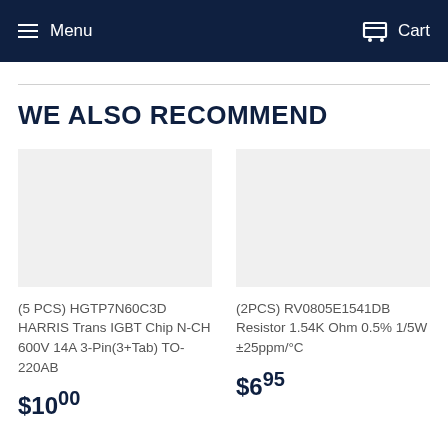Menu   Cart
WE ALSO RECOMMEND
(5 PCS) HGTP7N60C3D HARRIS Trans IGBT Chip N-CH 600V 14A 3-Pin(3+Tab) TO-220AB
$10.00
(2PCS) RV0805E1541DB Resistor 1.54K Ohm 0.5% 1/5W ±25ppm/°C
$6.95